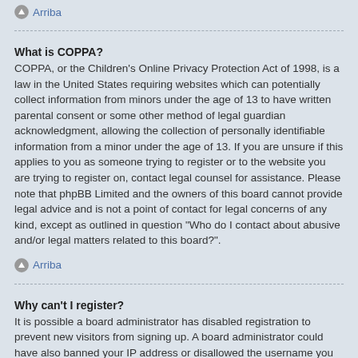Arriba
What is COPPA?
COPPA, or the Children’s Online Privacy Protection Act of 1998, is a law in the United States requiring websites which can potentially collect information from minors under the age of 13 to have written parental consent or some other method of legal guardian acknowledgment, allowing the collection of personally identifiable information from a minor under the age of 13. If you are unsure if this applies to you as someone trying to register or to the website you are trying to register on, contact legal counsel for assistance. Please note that phpBB Limited and the owners of this board cannot provide legal advice and is not a point of contact for legal concerns of any kind, except as outlined in question “Who do I contact about abusive and/or legal matters related to this board?”.
Arriba
Why can’t I register?
It is possible a board administrator has disabled registration to prevent new visitors from signing up. A board administrator could have also banned your IP address or disallowed the username you are attempting to register. Contact a board administrator for assistance.
Arriba
I registered but cannot login!
First, check your username and password. If they are correct, then one of two